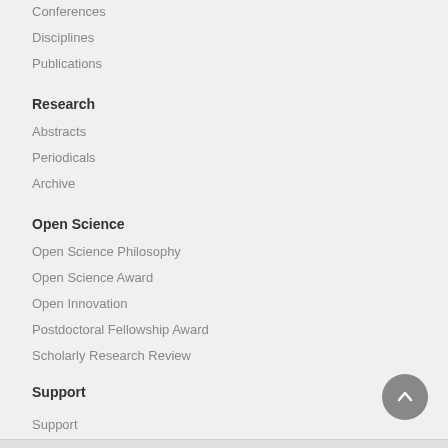Conferences
Disciplines
Publications
Research
Abstracts
Periodicals
Archive
Open Science
Open Science Philosophy
Open Science Award
Open Innovation
Postdoctoral Fellowship Award
Scholarly Research Review
Support
Support
Contact Us
Report Abuse